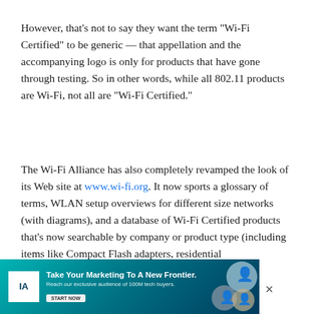However, that's not to say they want the term "Wi-Fi Certified" to be generic — that appellation and the accompanying logo is only for products that have gone through testing. So in other words, while all 802.11 products are Wi-Fi, not all are "Wi-Fi Certified."
The Wi-Fi Alliance has also completely revamped the look of its Web site at www.wi-fi.org. It now sports a glossary of terms, WLAN setup overviews for different size networks (with diagrams), and a database of Wi-Fi Certified products that's now searchable by company or product type (including items like Compact Flash adapters, residential gateway/routers, and wireless print servers).
[Figure (other): Advertisement banner: 'Take Your Marketing To A New Frontier. Reach our exclusive audience of 100M tech buyers.' with logo and people photos.]